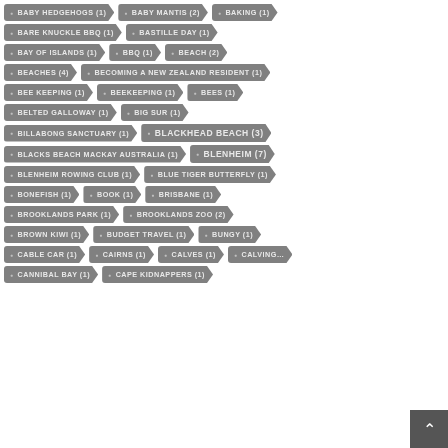BABY HEDGEHOGS (1)
BABY MANTIS (2)
BAKING (1)
BARE KNUCKLE BBQ (1)
BASTILLE DAY (1)
BAY OF ISLANDS (1)
BBQ (1)
BEACH (2)
BEACHES (4)
BECOMING A NEW ZEALAND RESIDENT (1)
BEE KEEPING (1)
BEEKEEPING (1)
BEES (1)
BELTED GALLOWAY (1)
BIG SUR (1)
BILLABONG SANCTUARY (1)
BLACKHEAD BEACH (3)
BLACKS BEACH MACKAY AUSTRALIA (1)
BLENHEIM (7)
BLENHEIM ROWING CLUB (1)
BLUE TIGER BUTTERFLY (1)
BONEFISH (1)
BOOK (1)
BRISBANE (1)
BROOKLANDS PARK (1)
BROOKLANDS ZOO (2)
BROWN KIWI (1)
BUDGET TRAVEL (1)
BUNGY (1)
CABLE CAR (1)
CAIRNS (1)
CALVES (1)
CALVING (1)
CANNIBAL BAY (1)
CAPE KIDNAPPERS (1)